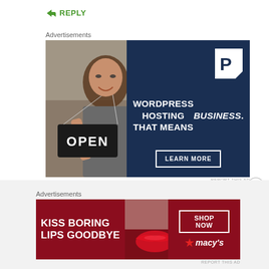↳ REPLY
Advertisements
[Figure (photo): WordPress hosting ad: photo of woman holding OPEN sign on left, dark navy right panel with Pressable P logo, text 'WORDPRESS HOSTING THAT MEANS BUSINESS.' and 'LEARN MORE' button]
Advertisements
[Figure (photo): Macy's lipstick ad: dark red background with woman's face/lips, text 'KISS BORING LIPS GOODBYE', SHOP NOW button, Macy's star logo]